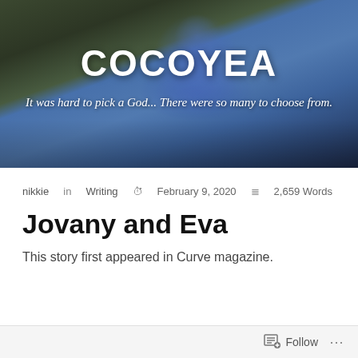[Figure (photo): Dark photograph of a person wearing a blue hoodie, standing in front of a wooden fence/bamboo background, looking to the side]
COCOYEA
It was hard to pick a God... There were so many to choose from.
nikkie in Writing  February 9, 2020  2,659 Words
Jovany and Eva
This story first appeared in Curve magazine.